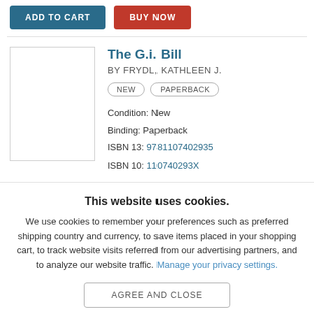ADD TO CART | BUY NOW (buttons)
[Figure (screenshot): Book listing with cover image placeholder, title 'The G.i. Bill', author 'BY FRYDL, KATHLEEN J.', badges NEW and PAPERBACK, condition, binding, ISBN 13: 9781107402935, ISBN 10: 110740293X]
This website uses cookies.
We use cookies to remember your preferences such as preferred shipping country and currency, to save items placed in your shopping cart, to track website visits referred from our advertising partners, and to analyze our website traffic. Manage your privacy settings.
AGREE AND CLOSE